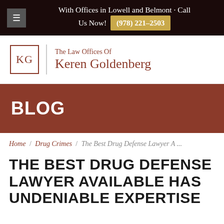With Offices in Lowell and Belmont · Call Us Now! (978) 221-2503
[Figure (logo): KG logo box with The Law Offices Of Keren Goldenberg text]
BLOG
Home / Drug Crimes / The Best Drug Defense Lawyer A ...
THE BEST DRUG DEFENSE LAWYER AVAILABLE HAS UNDENIABLE EXPERTISE